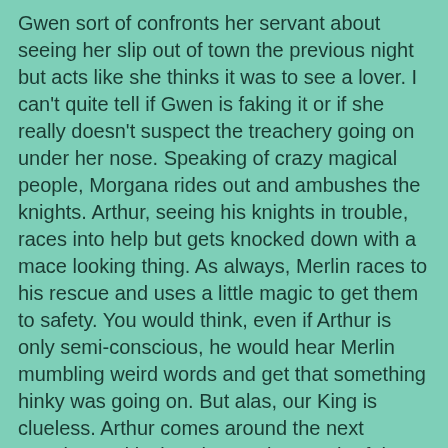Gwen sort of confronts her servant about seeing her slip out of town the previous night but acts like she thinks it was to see a lover. I can't quite tell if Gwen is faking it or if she really doesn't suspect the treachery going on under her nose. Speaking of crazy magical people, Morgana rides out and ambushes the knights. Arthur, seeing his knights in trouble, races into help but gets knocked down with a mace looking thing. As always, Merlin races to his rescue and uses a little magic to get them to safety. You would think, even if Arthur is only semi-conscious, he would hear Merlin mumbling weird words and get that something hinky was going on. But alas, our King is clueless. Arthur comes around the next morning and insists they go in search of the others. We cut to the caves where Gwaine sees a shiny blue light further in the cave. Something tells me following the pretty glowey light is not a good idea. Though I did not mind the slew of shirtless hotties populating that cave!
As I predicted, Gwaine's trip into the cave proves unfortunate for him. The Saxon guards follow him in and beat the crap out of him. The glowing light turns out to be a creature that's kind of translucent and it slowly starts to heal him.